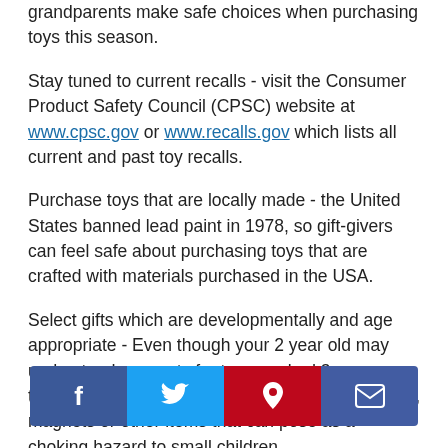grandparents make safe choices when purchasing toys this season.
Stay tuned to current recalls - visit the Consumer Product Safety Council (CPSC) website at www.cpsc.gov or www.recalls.gov which lists all current and past toy recalls.
Purchase toys that are locally made - the United States banned lead paint in 1978, so gift-givers can feel safe about purchasing toys that are crafted with materials purchased in the USA.
Select gifts which are developmentally and age appropriate - Even though your 2 year old may understand concepts for toys marked 3+ years; the product may contain small or detachable parts, magnets or other items that can pose as a choking hazard to small children.
According to the CPSC, the top five toy hazards for small children include m... de-on toys (i.e. skateboards, ridin... and chargers and